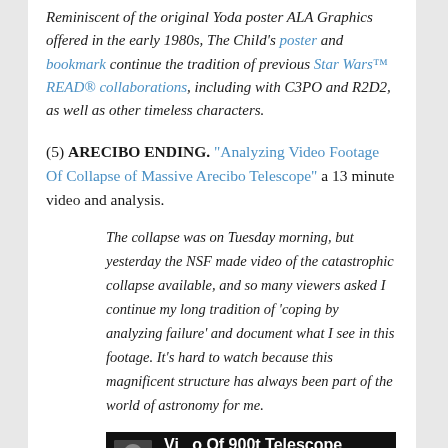Reminiscent of the original Yoda poster ALA Graphics offered in the early 1980s, The Child's poster and bookmark continue the tradition of previous Star Wars™ READ® collaborations, including with C3PO and R2D2, as well as other timeless characters.
(5) ARECIBO ENDING. "Analyzing Video Footage Of Collapse of Massive Arecibo Telescope" a 13 minute video and analysis.
The collapse was on Tuesday morning, but yesterday the NSF made video of the catastrophic collapse available, and so many viewers asked I continue my long tradition of 'coping by analyzing failure' and document what I see in this footage. It's hard to watch because this magnificent structure has always been part of the world of astronomy for me.
[Figure (screenshot): Video thumbnail with dark background showing text 'Video Of 900t Telescope Crash' and 'Analyzing Video Footage' with a small portrait photo in the lower left.]